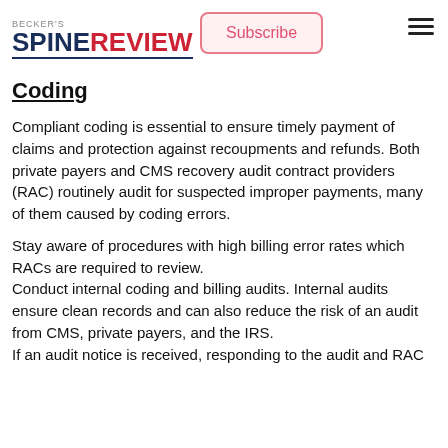BECKER'S SPINE REVIEW | Subscribe | Menu
Coding
Compliant coding is essential to ensure timely payment of claims and protection against recoupments and refunds. Both private payers and CMS recovery audit contract providers (RAC) routinely audit for suspected improper payments, many of them caused by coding errors.
Stay aware of procedures with high billing error rates which RACs are required to review. Conduct internal coding and billing audits. Internal audits ensure clean records and can also reduce the risk of an audit from CMS, private payers, and the IRS. If an audit notice is received, responding to the audit and RAC